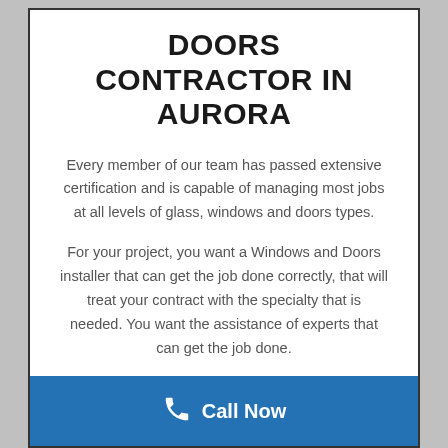DOORS CONTRACTOR IN AURORA
Every member of our team has passed extensive certification and is capable of managing most jobs at all levels of glass, windows and doors types.
For your project, you want a Windows and Doors installer that can get the job done correctly, that will treat your contract with the specialty that is needed. You want the assistance of experts that can get the job done.
GTA Glass are a one-stop contractor for professional
Call Now